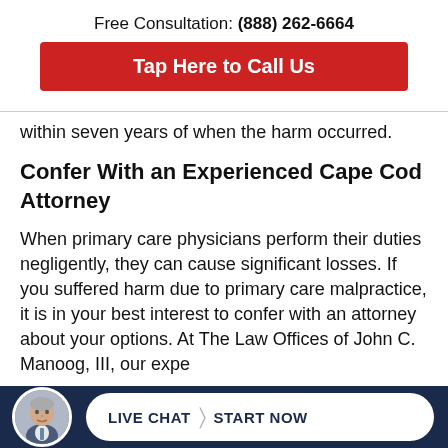Free Consultation: (888) 262-6664
Tap Here to Call Us
within seven years of when the harm occurred.
Confer With an Experienced Cape Cod Attorney
When primary care physicians perform their duties negligently, they can cause significant losses. If you suffered harm due to primary care malpractice, it is in your best interest to confer with an attorney about your options. At The Law Offices of John C. Manoog, III, our expe...
LIVE CHAT  START NOW